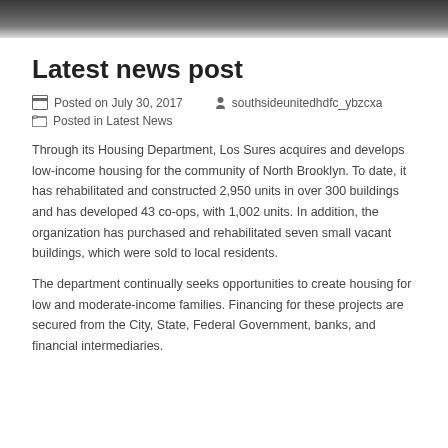[Figure (photo): Dark blurred header image of people, used as page banner]
Latest news post
Posted on July 30, 2017   southsideunitedhdfc_ybzcxa
Posted in Latest News
Through its Housing Department, Los Sures acquires and develops low-income housing for the community of North Brooklyn. To date, it has rehabilitated and constructed 2,950 units in over 300 buildings and has developed 43 co-ops, with 1,002 units. In addition, the organization has purchased and rehabilitated seven small vacant buildings, which were sold to local residents.
The department continually seeks opportunities to create housing for low and moderate-income families. Financing for these projects are secured from the City, State, Federal Government, banks, and financial intermediaries.